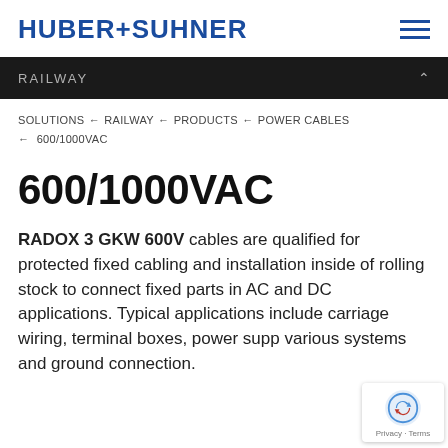HUBER+SUHNER
RAILWAY
SOLUTIONS ← RAILWAY ← PRODUCTS ← POWER CABLES ← 600/1000VAC
600/1000VAC
RADOX 3 GKW 600V cables are qualified for protected fixed cabling and installation inside of rolling stock to connect fixed parts in AC and DC applications. Typical applications include carriage wiring, terminal boxes, power supply various systems and ground connection.